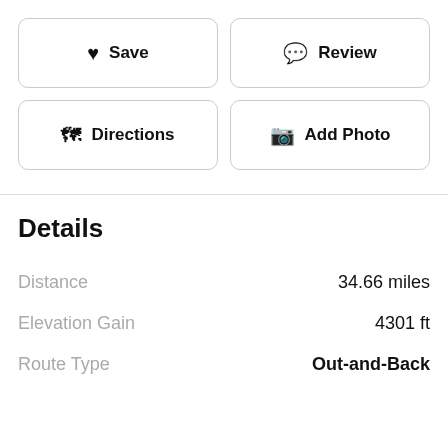[Figure (screenshot): Button row with Save (heart icon) and Review (speech bubble icon) buttons side by side]
[Figure (screenshot): Button row with Directions (map icon) and Add Photo (camera icon) buttons side by side]
Details
| Label | Value |
| --- | --- |
| Distance | 34.66 miles |
| Elevation Gain | 4301 ft |
| Route Type | Out-and-Back |